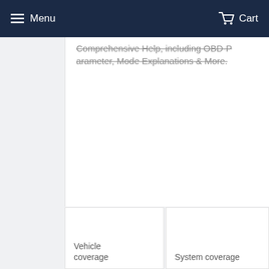Menu  Cart
Comprehensive Help, including OBD-P arameter, Mode Explanations & More.
Vehicle coverage
System coverage